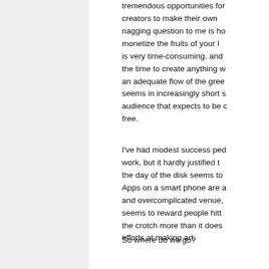tremendous opportunities for creators to make their own nagging question to me is how to monetize the fruits of your labor is very time-consuming, and the time to create anything w an adequate flow of the gree seems in increasingly short s audience that expects to be free.
I've had modest success ped work, but it hardly justified t the day of the disk seems to Apps on a smart phone are a and overcomplicated venue, seems to reward people hitt the crotch more than it does efforts at making art.
So where do we go?
My opinion is to do 1 minute shorts in animation, but richness in ideas...